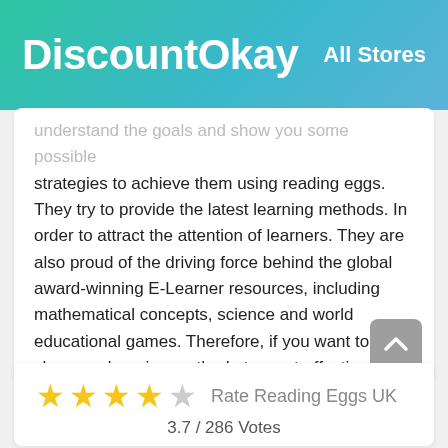DiscountOkay   All Stores
understand the goals and show you some possible strategies to achieve them using reading eggs. They try to provide the latest learning methods. In order to attract the attention of learners. They are also proud of the driving force behind the global award-winning E-Learner resources, including mathematical concepts, science and world educational games. Therefore, if you want to choose a learning method at a cost-effective price, you can also use it and read the eggs provided in the company's press release. In 2010, they also won the BETT Award for major digital content and major minor content.
Rate Reading Eggs UK
3.7 / 286 Votes